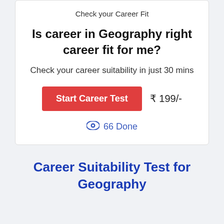Check your Career Fit
Is career in Geography right career fit for me?
Check your career suitability in just 30 mins
Start Career Test   ₹ 199/-
👁 66 Done
Career Suitability Test for Geography